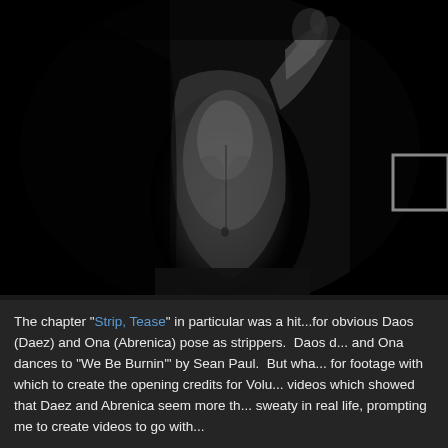[Figure (photo): Black and white artistic photograph of a muscular shirtless man in dramatic low-key lighting against a dark background. The man is shown from waist up, with one arm raised near his face. A partially visible UI rectangle/button element appears in the upper right corner.]
The chapter "Strip, Tease" in particular was a hit...for obvious reasons. Daos (Daez) and Ona (Abrenica) pose as strippers. Daos dances... and Ona dances to "We Be Burnin'" by Sean Paul. But what...for footage with which to create the opening credits for Volu...videos which showed that Daez and Abrenica seem more th...sweaty in real life, prompting me to create videos to go with...